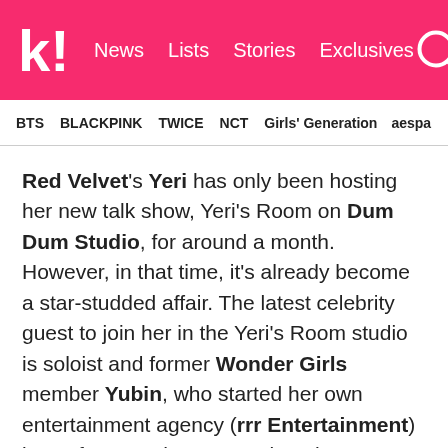k! News  Lists  Stories  Exclusives
BTS  BLACKPINK  TWICE  NCT  Girls' Generation  aespa
Red Velvet's Yeri has only been hosting her new talk show, Yeri's Room on Dum Dum Studio, for around a month. However, in that time, it's already become a star-studded affair. The latest celebrity guest to join her in the Yeri's Room studio is soloist and former Wonder Girls member Yubin, who started her own entertainment agency (rrr Entertainment) just a few months ago. And on the June 13 episode, Yeri hinted that she might be joining Yubin's artist roster in the new future!
As always on Yeri's Room, Yeri's questions to